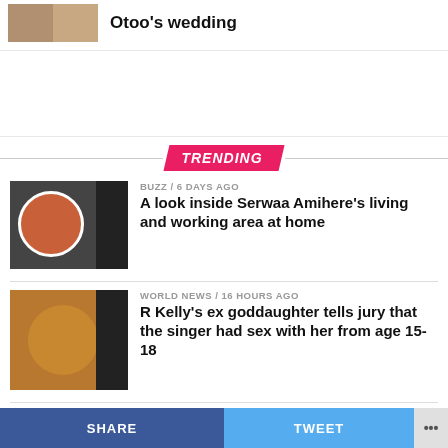Otoo's wedding
TRENDING
BUZZ / 6 days ago
A look inside Serwaa Amihere's living and working area at home
WORLD NEWS / 16 hours ago
R Kelly's ex goddaughter tells jury that the singer had sex with her from age 15-18
BUZZ / 6 days ago
Photos: Broadcast journalist
SHARE   TWEET   ...